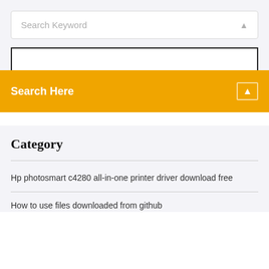[Figure (screenshot): Search keyword input box with placeholder text 'Search Keyword' and a search icon on the right, on a light gray background]
[Figure (screenshot): White input box with black border at top, overlaid by an orange search bar reading 'Search Here' with a white search icon on the right]
Category
Hp photosmart c4280 all-in-one printer driver download free
How to use files downloaded from github